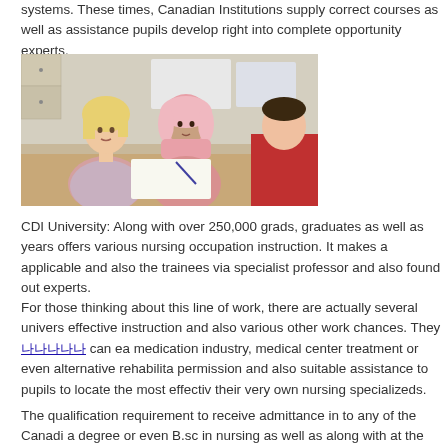systems. These times, Canadian Institutions supply correct courses as well as assistance pupils develop right into complete opportunity experts.
[Figure (photo): Two students sitting at a desk in a classroom, one wearing a pink hijab, engaged in discussion or working on an assignment together. A third student in red is partially visible in the foreground.]
CDI University: Along with over 250,000 grads, graduates as well as years offers various nursing occupation instruction. It makes a applicable and also the trainees via specialist professor and also found out experts.
For those thinking about this line of work, there are actually several universities effective instruction and also various other work chances. They 나나나나나 can ea medication industry, medical center treatment or even alternative rehabilita permission and also suitable assistance to pupils to locate the most effectiv their very own nursing specializeds.
The qualification requirement to receive admittance in to any of the Canadi a degree or even B.sc in nursing as well as along with at the very least one